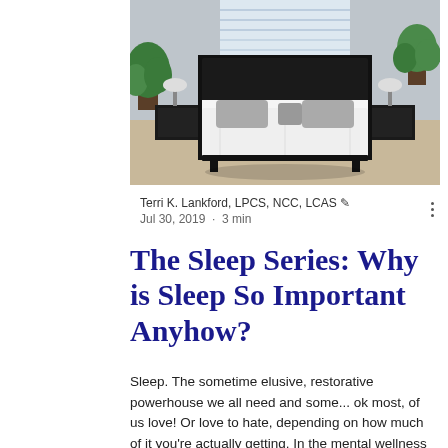[Figure (photo): A modern bedroom with a large black-framed bed, white bedding, grey pillows, dark wood nightstands, and green plants near bright windows.]
Terri K. Lankford, LPCS, NCC, LCAS ✏
Jul 30, 2019  ·  3 min
The Sleep Series: Why is Sleep So Important Anyhow?
Sleep. The sometime elusive, restorative powerhouse we all need and some... ok most, of us love! Or love to hate, depending on how much of it you're actually getting. In the mental wellness